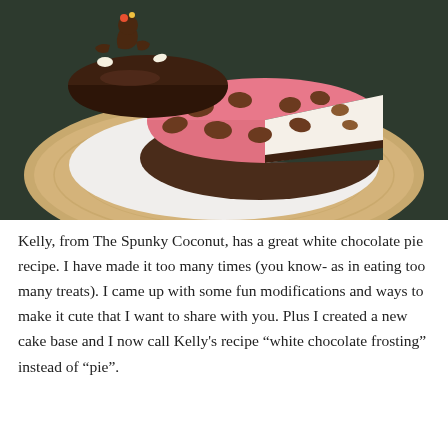[Figure (photo): Overhead view of decorated cakes/pies on a wooden board. One round cake has dark chocolate frosting with a chocolate character figure. Another large pink-frosted cake with brown chocolate spots is partially sliced, showing a wedge removed. A white layer and a dark chocolate layer are visible beneath.]
Kelly, from The Spunky Coconut, has a great white chocolate pie recipe. I have made it too many times (you know- as in eating too many treats). I came up with some fun modifications and ways to make it cute that I want to share with you. Plus I created a new cake base and I now call Kelly's recipe “white chocolate frosting” instead of “pie”.